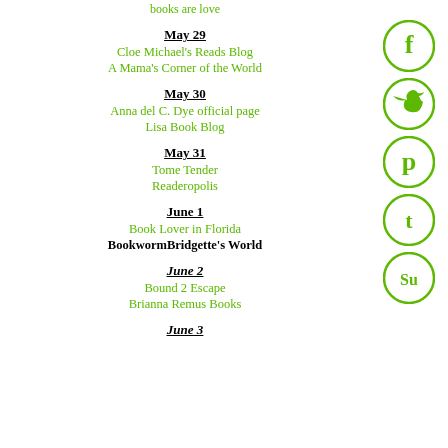books are love
May 29
Cloe Michael's Reads Blog
A Mama's Corner of the World
May 30
Anna del C. Dye official page
Lisa Book Blog
May 31
Tome Tender
Readeropolis
June 1
Book Lover in Florida
BookwormBridgette's World
June 2
Bound 2 Escape
Brianna Remus Books
June 3
[Figure (infographic): Social media icon buttons for Facebook, Twitter, Pinterest, Tumblr, StumbleUpon in green circles on right sidebar]